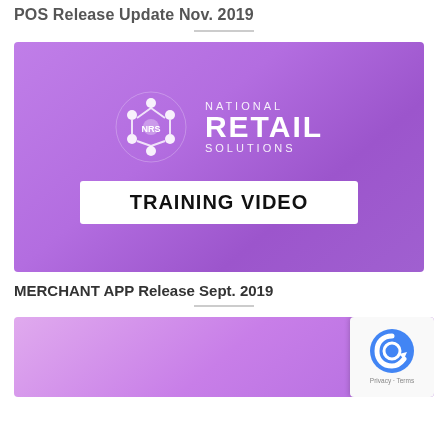POS Release Update Nov. 2019
[Figure (screenshot): National Retail Solutions training video thumbnail with purple gradient background showing NRS logo and 'TRAINING VIDEO' text on white banner]
MERCHANT APP Release Sept. 2019
[Figure (screenshot): Partial view of another purple gradient training video thumbnail at bottom of page, partially cut off, with reCAPTCHA badge overlay in bottom right]